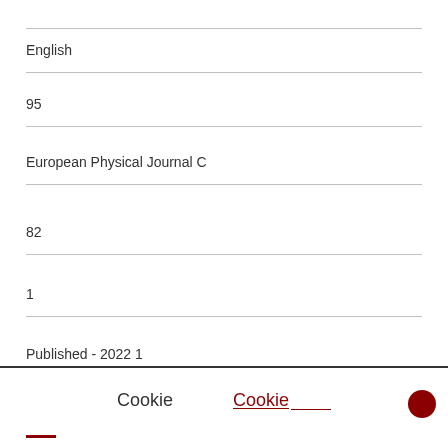English
95
European Physical Journal C
82
1
Published - 2022 1
Cookie
Cookie